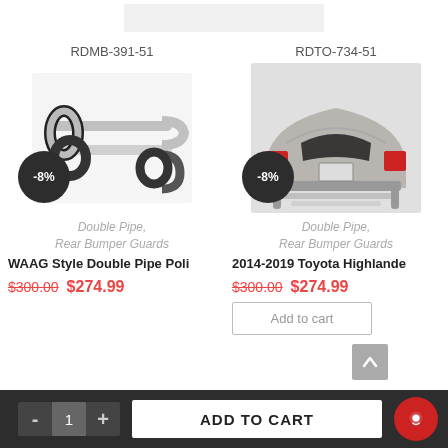[Figure (photo): Partial top strip of a product image (cropped, barely visible at top of page)]
RDMB-391-51
RDTO-734-51
[Figure (photo): Chrome double pipe rear bumper guard on white background with -8% discount badge]
[Figure (photo): Rear view of 2014-2019 Toyota Highlander with rear bumper guards installed, with -8% discount badge]
Double Pipe, Rear Bumper Guards
2014-2019 Toyota Highlande
Double Pipe, Rear Bumper Guards
WAAG Style Double Pipe Poli
$300.00  $274.99
$300.00  $274.99
Add to cart
- 1 +  ADD TO CART